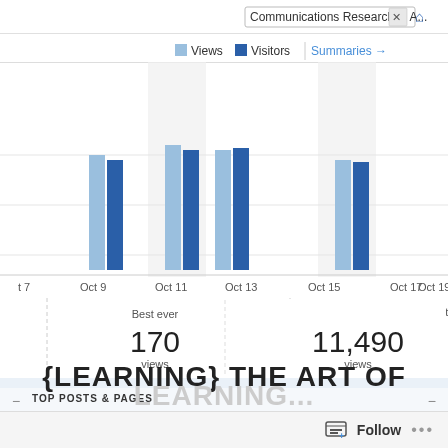[Figure (screenshot): WordPress.com stats dashboard screenshot showing a bar chart of Views and Visitors from Oct 7 to Oct 19, with stats: Best ever 170 views, 11,490 all-time views, 299 all-time comments. Also shows Top Posts & Pages section with Today/Yesterday tabs and Summaries link. A search box shows 'Communications Research in A...'. Legend shows Views (light blue) and Visitors (dark blue).]
{LEARNING} THE ART OF